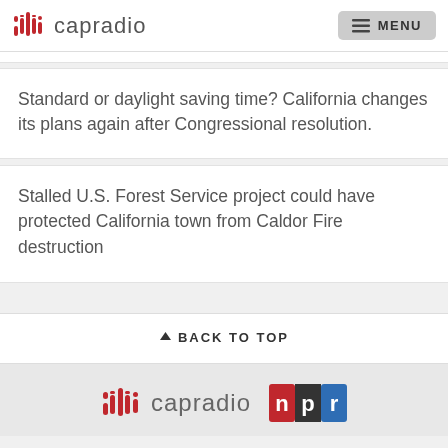capradio MENU
Standard or daylight saving time? California changes its plans again after Congressional resolution.
Stalled U.S. Forest Service project could have protected California town from Caldor Fire destruction
↑ BACK TO TOP
[Figure (logo): CapRadio logo with NPR logo in footer]